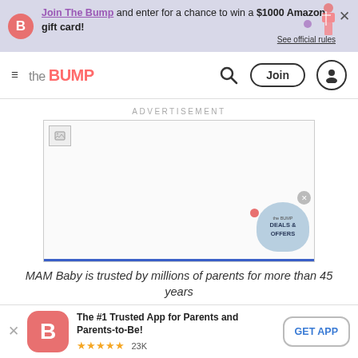Join The Bump and enter for a chance to win a $1000 Amazon gift card! See official rules
[Figure (logo): The Bump website navigation bar with hamburger menu, logo, search icon, Join button, and user icon]
ADVERTISEMENT
[Figure (screenshot): Advertisement placeholder box with broken image icon and blue bottom border. Deals & Offers badge visible at bottom right.]
MAM Baby is trusted by millions of parents for more than 45 years
The #1 Trusted App for Parents and Parents-to-Be! ★★★★★ 23K  GET APP